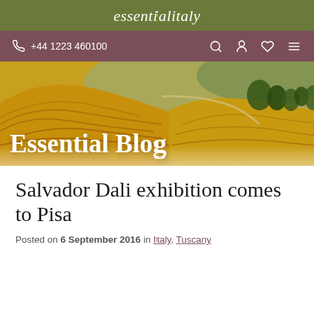essentialitaly
+44 1223 460100
[Figure (photo): Aerial view of golden yellow rolling hills in Tuscany with curved cultivation lines and green trees in the background. Text overlay reads 'Essential Blog'.]
Salvador Dali exhibition comes to Pisa
Posted on 6 September 2016 in Italy, Tuscany